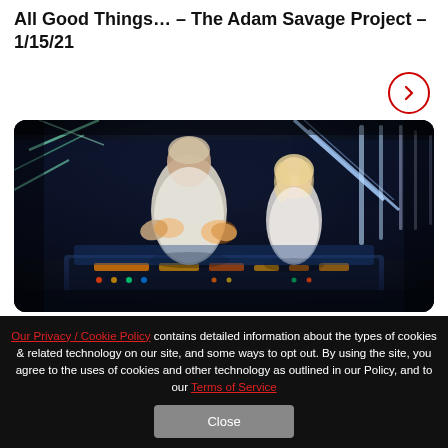All Good Things… – The Adam Savage Project – 1/15/21
[Figure (photo): Two actors in a science fiction setting — an older man in white and a young blonde woman in white — in front of futuristic blue-lit control panels and diagonal light strips.]
Our Privacy / Cookie Policy contains detailed information about the types of cookies & related technology on our site, and some ways to opt out. By using the site, you agree to the uses of cookies and other technology as outlined in our Policy, and to our Terms of Service